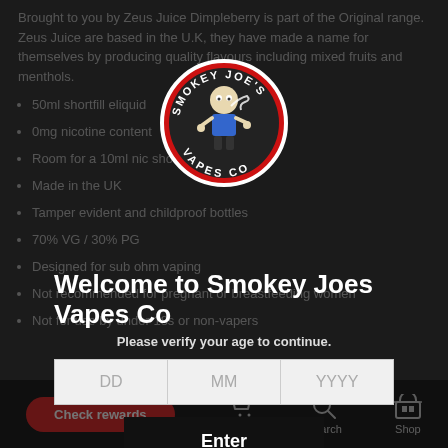Brought to you by Zeus Juice Dimpleberry is part of the Original range. Zeus Juice are based in the U.K, they have made a name for themselves by producing quality flavours including mixed fruits and menthols.
50ml shortfill eliquid
0mg nicotine content
Room for a 10ml nic shot
Made in the UK
Tamper evident and childproof bottles
70% VG / 30% PG
Designed for sub ohm vaping
Not recommended for pregnant or breastfeeding women
Not for use by under 18s or non-vapers
[Figure (logo): Smokey Joe's Vapes Co circular logo with cartoon character]
Welcome to Smokey Joes Vapes Co
Please verify your age to continue.
DD  MM  YYYY
Enter
Check rewards   Cart   Search   Shop